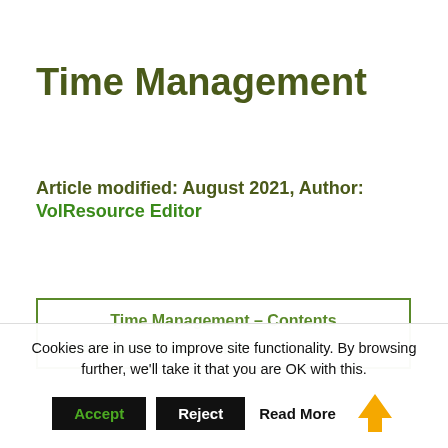Time Management
Article modified: August 2021, Author: VolResource Editor
Time Management – Contents
1 MANAGING YOUR TIME
Cookies are in use to improve site functionality. By browsing further, we'll take it that you are OK with this.